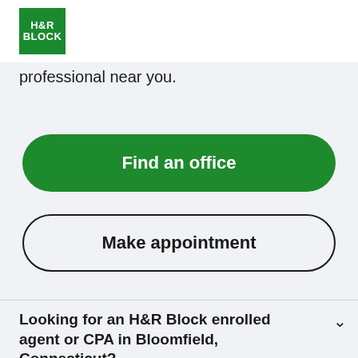H&R BLOCK
professional near you.
Find an office
Make appointment
Looking for an H&R Block enrolled agent or CPA in Bloomfield, Connecticut?